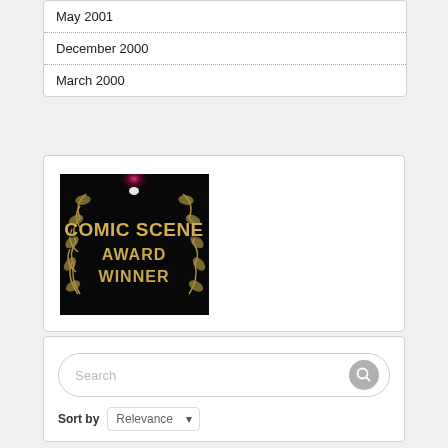May 2001
December 2000
March 2000
[Figure (logo): Comic Scene Award Winner badge — black background with gold laurel wreath and gold text reading COMIC SCENE AWARD WINNER, with a bright pink/red light flare at top center]
Search
Sort by  Relevance